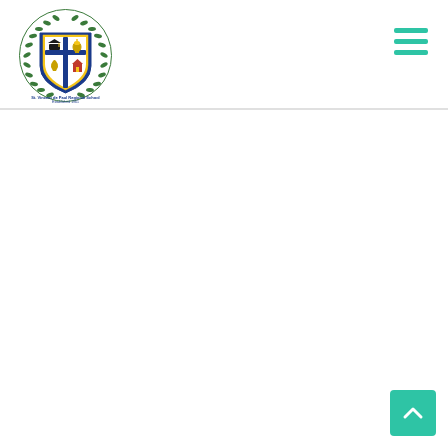[Figure (logo): School crest/shield logo with blue and gold colors, featuring a cross, graduation cap, lamp, and other symbols, surrounded by laurel wreath. Text reads 'St. Vincent de Paul Regional School Established 1961']
[Figure (other): Hamburger menu icon — three horizontal teal/green lines in upper right corner]
[Figure (other): Back-to-top button — teal square with upward-pointing chevron arrow in lower right corner]